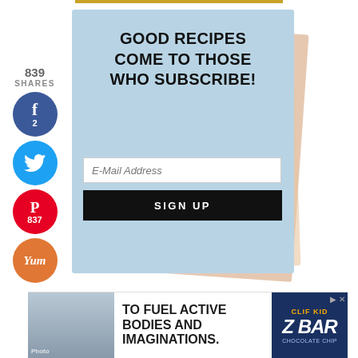[Figure (infographic): Social share sidebar with 839 shares count, Facebook (2), Twitter, Pinterest (837), and Yummly buttons]
[Figure (infographic): Blue felt/paper texture card with stacked paper background showing newsletter signup: 'GOOD RECIPES COME TO THOSE WHO SUBSCRIBE!' with email input field and SIGN UP button]
[Figure (photo): Advertisement banner at bottom: child eating, text 'TO FUEL ACTIVE BODIES AND IMAGINATIONS.' with CLIF Kid Z Bar product branding]